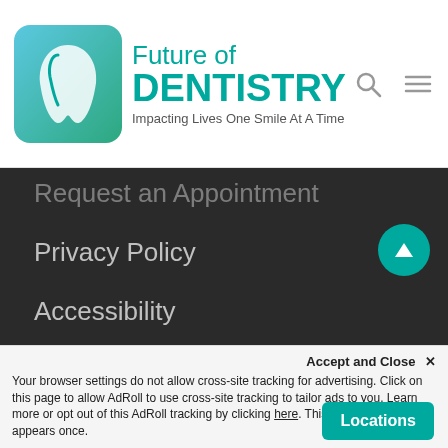[Figure (logo): Future of Dentistry logo with teal tooth icon, text 'Future of DENTISTRY', and tagline 'Impacting Lives One Smile At A Time']
Request an Appointment
Privacy Policy
Accessibility
Patient Forms
Wakefield:  (781) 557-5244
Dracut: (978) 791-0492
Billerica: (978) 419-9379
North Andover: (978) 261-7419
Chelmsford: (978) 419-7599
Accept and Close ✕
Your browser settings do not allow cross-site tracking for advertising. Click on this page to allow AdRoll to use cross-site tracking to tailor ads to you. Learn more or opt out of this AdRoll tracking by clicking here. This message only appears once.